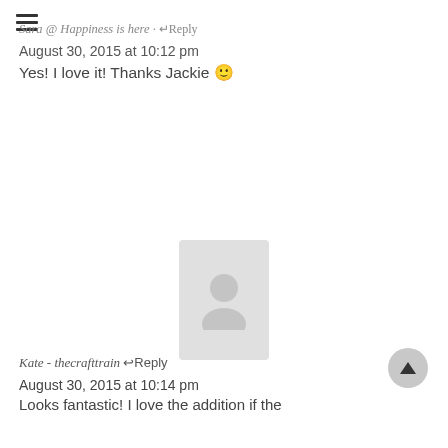Sara @ Happiness is here · Reply
August 30, 2015 at 10:12 pm
Yes! I love it! Thanks Jackie 🙂
[Figure (photo): Avatar placeholder image, light grey background]
Kate - thecrafttrain Reply
August 30, 2015 at 10:14 pm
Looks fantastic! I love the addition if the